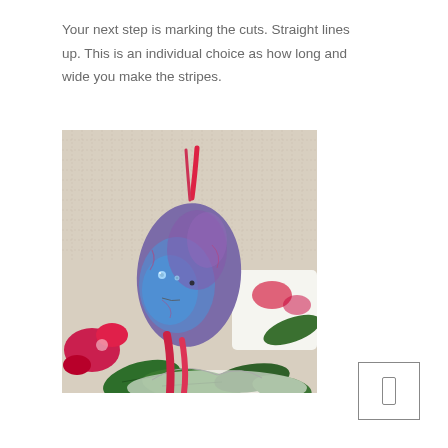Your next step is marking the cuts. Straight lines up. This is an individual choice as how long and wide you make the stripes.
[Figure (photo): A needle-felted fish or bird figure in blue, purple and red/pink colors, with small bead eyes, resting on a floral fabric background with green leaves.]
[Figure (other): Navigation box with a small rectangle/arrow icon in the bottom right corner of the page.]